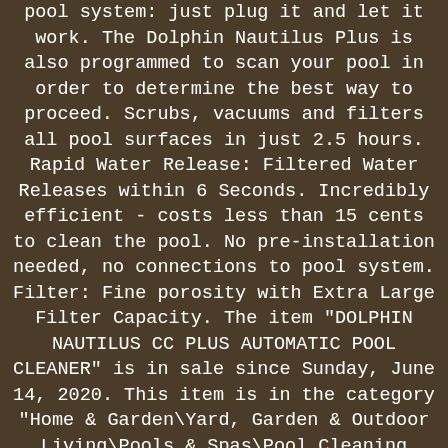pool system: just plug it and let it work. The Dolphin Nautilus Plus is also programmed to scan your pool in order to determine the best way to proceed. Scrubs, vacuums and filters all pool surfaces in just 2.5 hours. Rapid Water Release: Filtered Water Releases within 6 Seconds. Incredibly efficient - costs less than 15 cents to clean the pool. No pre-installation needed, no connections to pool system. Filter: Fine porosity with Extra Large Filter Capacity. The item "DOLPHIN NAUTILUS CC PLUS AUTOMATIC POOL CLEANER" is in sale since Sunday, June 14, 2020. This item is in the category "Home & Garden\Yard, Garden & Outdoor Living\Pools & Spas\Pool Cleaning Tools\Pool Cleaners & Vacuums". The seller is "cartercrash" and is located in Greenfield Center, New York. This item can be shipped to United